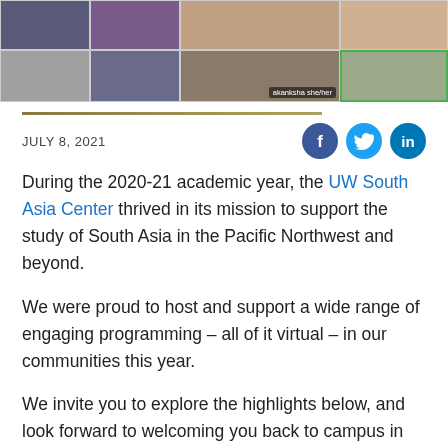[Figure (photo): Screenshot of a virtual video call with multiple participants shown in a grid layout. One participant labeled 'akanksha she/her' is highlighted with a green border.]
JULY 8, 2021
[Figure (infographic): Social media share icons: Facebook (f), Twitter (bird), LinkedIn (in)]
During the 2020-21 academic year, the UW South Asia Center thrived in its mission to support the study of South Asia in the Pacific Northwest and beyond.
We were proud to host and support a wide range of engaging programming – all of it virtual – in our communities this year.
We invite you to explore the highlights below, and look forward to welcoming you back to campus in the fall.